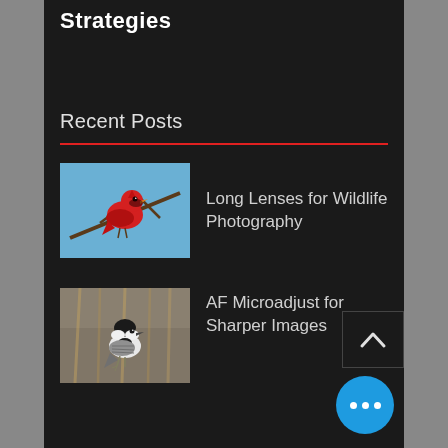Strategies
Recent Posts
Long Lenses for Wildlife Photography
[Figure (photo): Red cardinal bird perched on a branch against a blue sky background]
AF Microadjust for Sharper Images
[Figure (photo): Black and white chickadee bird perched on dried grass or wheat stalks]